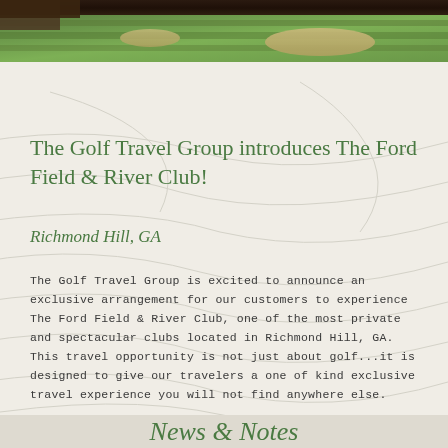[Figure (photo): Aerial view of a green golf course fairway with sand bunkers]
The Golf Travel Group introduces The Ford Field & River Club!
Richmond Hill, GA
The Golf Travel Group is excited to announce an exclusive arrangement for our customers to experience The Ford Field & River Club, one of the most private and spectacular clubs located in Richmond Hill, GA. This travel opportunity is not just about golf...it is designed to give our travelers a one of kind exclusive travel experience you will not find anywhere else.
The Ford Field & River Club
News & Notes